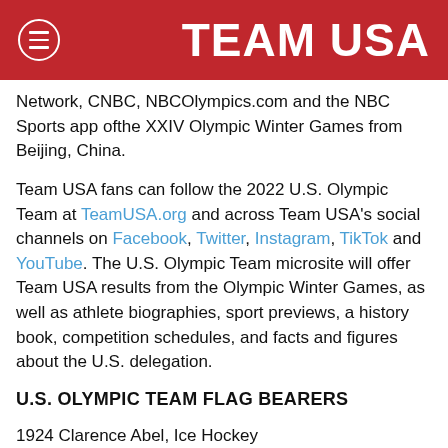TEAM USA
Network, CNBC, NBCOlympics.com and the NBC Sports app ofthe XXIV Olympic Winter Games from Beijing, China.
Team USA fans can follow the 2022 U.S. Olympic Team at TeamUSA.org and across Team USA's social channels on Facebook, Twitter, Instagram, TikTok and YouTube. The U.S. Olympic Team microsite will offer Team USA results from the Olympic Winter Games, as well as athlete biographies, sport previews, a history book, competition schedules, and facts and figures about the U.S. delegation.
U.S. OLYMPIC TEAM FLAG BEARERS
1924 Clarence Abel, Ice Hockey